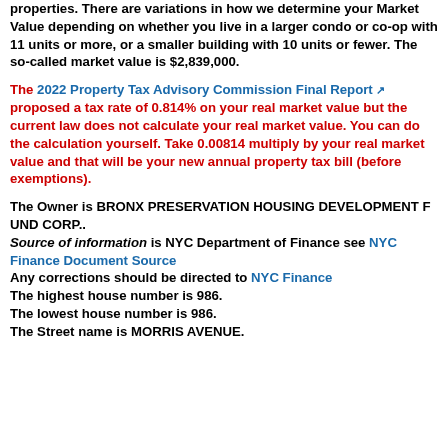properties. There are variations in how we determine your Market Value depending on whether you live in a larger condo or co-op with 11 units or more, or a smaller building with 10 units or fewer. The so-called market value is $2,839,000.
The 2022 Property Tax Advisory Commission Final Report [link] proposed a tax rate of 0.814% on your real market value but the current law does not calculate your real market value. You can do the calculation yourself. Take 0.00814 multiply by your real market value and that will be your new annual property tax bill (before exemptions).
The Owner is BRONX PRESERVATION HOUSING DEVELOPMENT F UND CORP.. Source of information is NYC Department of Finance see NYC Finance Document Source Any corrections should be directed to NYC Finance The highest house number is 986. The lowest house number is 986. The Street name is MORRIS AVENUE.